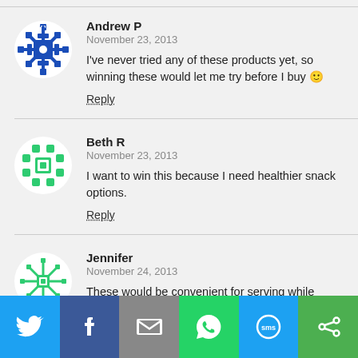Andrew P
November 23, 2013
I've never tried any of these products yet, so winning these would let me try before I buy 🙂
Reply
Beth R
November 23, 2013
I want to win this because I need healthier snack options.
Reply
Jennifer
November 24, 2013
These would be convenient for serving while watching football games.
[Figure (other): Social share bar with Twitter, Facebook, Email, WhatsApp, SMS, and another share option icons]